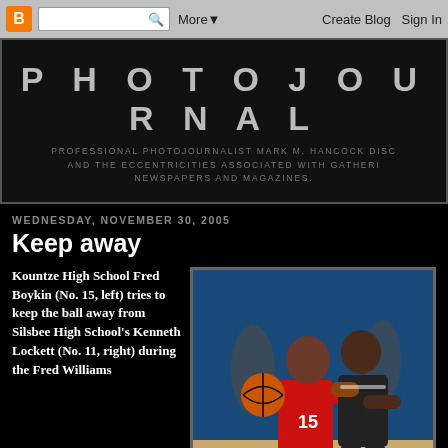B | [search] Q  More▼  Create Blog  Sign In
PHOTOJOURNAL
PROFESSIONAL PHOTOJOURNALIST MARK M. HANCOCK DISC AND THE ECCENTRICITIES ASSOCIATED WITH GATHERI NEWSPAPERS AND MAGAZINES.
WEDNESDAY, NOVEMBER 30, 2005
Keep away
Kountze High School Fred Boykin (No. 15, left) tries to keep the ball away from Silsbee High School's Kenneth Lockett (No. 11, right) during the Fred Williams
[Figure (photo): Basketball game photo: player in red jersey number 15 holding basketball while being defended by player in black and white jersey]